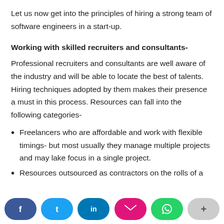Let us now get into the principles of hiring a strong team of software engineers in a start-up.
Working with skilled recruiters and consultants-
Professional recruiters and consultants are well aware of the industry and will be able to locate the best of talents. Hiring techniques adopted by them makes their presence a must in this process. Resources can fall into the following categories-
Freelancers who are affordable and work with flexible timings- but most usually they manage multiple projects and may lake focus in a single project.
Resources outsourced as contractors on the rolls of a [su...mp...]
f  t  in  [email]  [whatsapp]  +